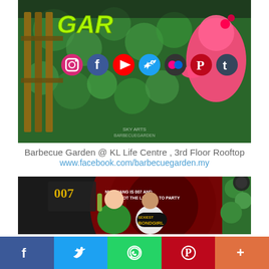[Figure (photo): Photo of Barbecue Garden at KL Life Centre 3rd Floor Rooftop, showing green plant walls, wooden fence, pink elephant decoration, green GAR text, and social media icons overlay (Instagram, Facebook, YouTube, Twitter, Flickr, Pinterest, Tumblr, RSS)]
Barbecue Garden @ KL Life Centre , 3rd Floor Rooftop
www.facebook.com/barbecuegarden.my
[Figure (photo): Photo of two people posing at a Nuffnang 007 party event with a backdrop reading 'NUFFNANG IS 007 AND WE'VE GOT THE LICENSE TO PARTY'. Man in green shirt holding a bottle, woman holding a 'BONDGIRL' sign.]
[Figure (infographic): Social sharing bottom bar with Facebook, Twitter, WhatsApp, Pinterest, and More (+) buttons]